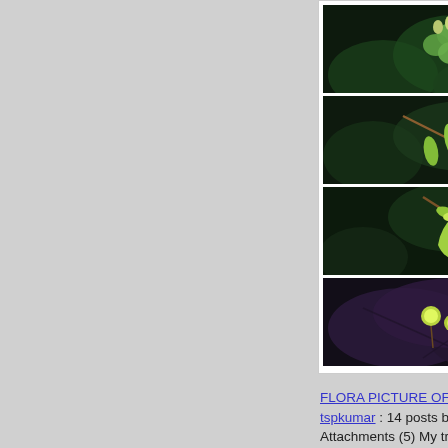[Figure (photo): Four stacked botanical photographs showing green flowers/buds on dark backgrounds with leaves. Top: small green buds with clover-like leaves. Second: green elongated buds. Third: green pitcher-shaped flower hanging. Fourth: dark purple-green leaves with round green buds.]
FLORA PICTURE OF THE YEAR-2015: tspkumar : 14 posts by 8 authors. Attachments (5) My tryst with the Queen.............